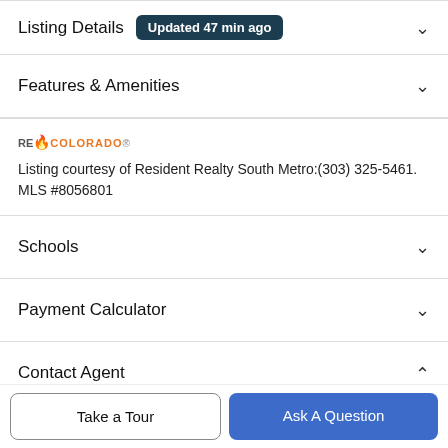Listing Details  Updated 47 min ago
Features & Amenities
[Figure (logo): REcolorado logo with orange flame icon]
Listing courtesy of Resident Realty South Metro:(303) 325-5461. MLS #8056801
Schools
Payment Calculator
Contact Agent
Take a Tour
Ask A Question